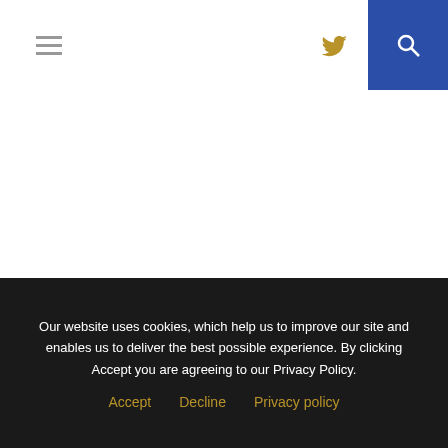Navigation header with hamburger menu, Twitter icon, and search button
October 22, 2008 by Jon Gatrell
Comments (1)
OLDER POSTS »
Our website uses cookies, which help us to improve our site and enables us to deliver the best possible experience. By clicking Accept you are agreeing to our Privacy Policy.
Accept   Decline   Privacy policy